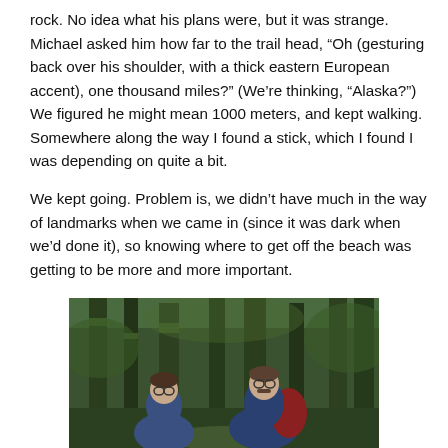rock.  No idea what his plans were, but it was strange.  Michael asked him how far to the trail head, “Oh (gesturing back over his shoulder, with a thick eastern European accent), one thousand miles?”   (We’re thinking, “Alaska?”)  We figured he might mean 1000 meters, and kept walking.  Somewhere along the way I found a stick, which I found I was depending on quite a bit.
We kept going.  Problem is, we didn’t have much in the way of landmarks when we came in (since it was dark when we’d done it), so knowing where to get off the beach was getting to be more and more important.
[Figure (photo): Two hikers with backpacks in a lush green forest with tall moss-covered trees]